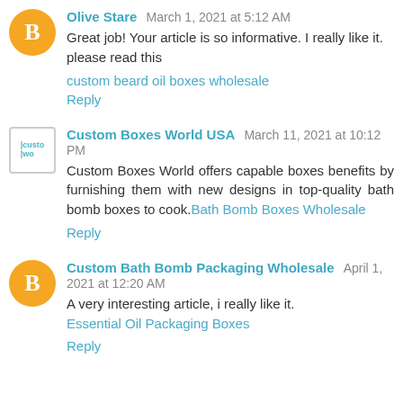Olive Stare  March 1, 2021 at 5:12 AM
Great job! Your article is so informative. I really like it. please read this
custom beard oil boxes wholesale
Reply
Custom Boxes World USA  March 11, 2021 at 10:12 PM
Custom Boxes World offers capable boxes benefits by furnishing them with new designs in top-quality bath bomb boxes to cook. Bath Bomb Boxes Wholesale
Reply
Custom Bath Bomb Packaging Wholesale  April 1, 2021 at 12:20 AM
A very interesting article, i really like it.
Essential Oil Packaging Boxes
Reply